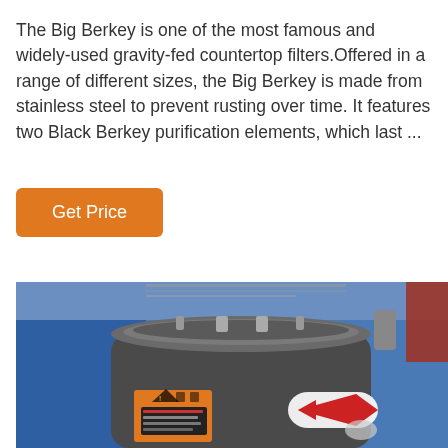The Big Berkey is one of the most famous and widely-used gravity-fed countertop filters.Offered in a range of different sizes, the Big Berkey is made from stainless steel to prevent rusting over time. It features two Black Berkey purification elements, which last ...
Get Price
[Figure (photo): Photo of a large dark grey cylindrical water filter unit (Big Berkey style) with a silver top lid. The unit has an orange warning label sticker on the front and a red arrow sticker. It is placed in front of a blue background with some shelving visible.]